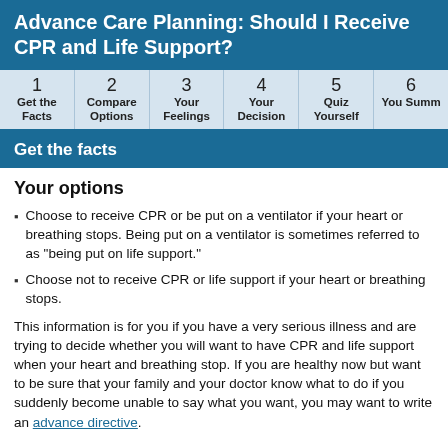Advance Care Planning: Should I Receive CPR and Life Support?
| 1 Get the Facts | 2 Compare Options | 3 Your Feelings | 4 Your Decision | 5 Quiz Yourself | 6 Your Summary |
| --- | --- | --- | --- | --- | --- |
Get the facts
Your options
Choose to receive CPR or be put on a ventilator if your heart or breathing stops. Being put on a ventilator is sometimes referred to as "being put on life support."
Choose not to receive CPR or life support if your heart or breathing stops.
This information is for you if you have a very serious illness and are trying to decide whether you will want to have CPR and life support when your heart and breathing stop. If you are healthy now but want to be sure that your family and your doctor know what to do if you suddenly become unable to say what you want, you may want to write an advance directive.